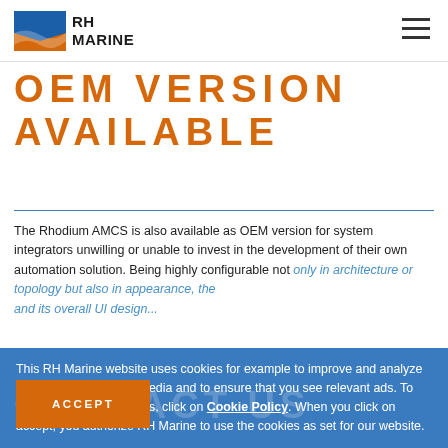RH MARINE
OEM VERSION AVAILABLE
The Rhodium AMCS is also available as OEM version for system integrators unwilling or unable to invest in the development of their own automation solution. Being highly configurable not only in architecture or topology but also in appearance, the and its overall UI design...
This RH Marine website uses cookies for example to improve and analyze the website, for social media and to ensure that you see relevant ads. To learn more about cookies, click on Cookie Policy. When you click on accept, you authorize RH Marine to use the cookies as set for our website.
CONTACT US
ACCEPT